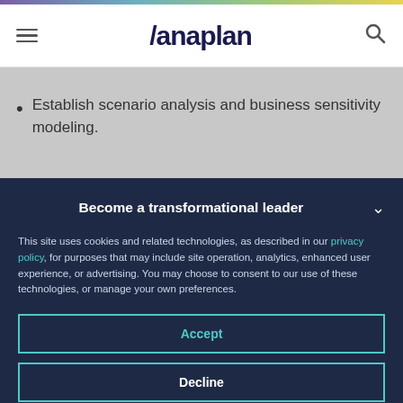Anaplan
Establish scenario analysis and business sensitivity modeling.
Become a transformational leader
This site uses cookies and related technologies, as described in our privacy policy, for purposes that may include site operation, analytics, enhanced user experience, or advertising. You may choose to consent to our use of these technologies, or manage your own preferences.
Accept
Decline
Manage settings